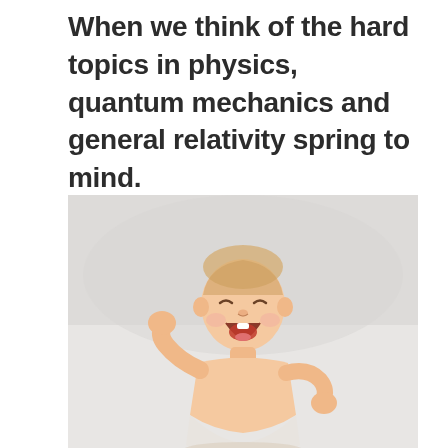When we think of the hard topics in physics, quantum mechanics and general relativity spring to mind.
[Figure (photo): A laughing baby with eyes squinted shut, arms raised, sitting against a light gray/white background. The baby appears to be around 6-12 months old, shirtless, wearing only a diaper.]